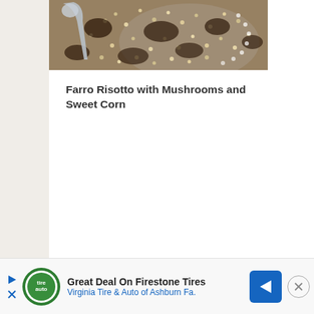[Figure (photo): Close-up photo of farro risotto with mushrooms and sweet corn in a white bowl, with a serving spoon visible]
Farro Risotto with Mushrooms and Sweet Corn
[Figure (infographic): Advertisement banner for Firestone Tires - Virginia Tire & Auto of Ashburn featuring green logo, play/X icons on left, blue navigation arrow icon, and close button]